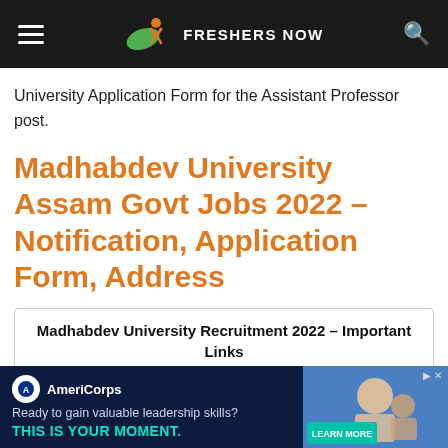FRESHERS NOW
University Application Form for the Assistant Professor post.
Madhabdev University Assam Govt Jobs 2022 – Notification, Application Form, Address
|  | Madhabdev University Recruitment 2022 – Important Links |  |
| --- | --- | --- |
| ∨ | ownload the |  |
[Figure (screenshot): AmeriCorps advertisement banner: 'Ready to gain valuable leadership skills? THIS IS YOUR MOMENT. LEARN MORE']